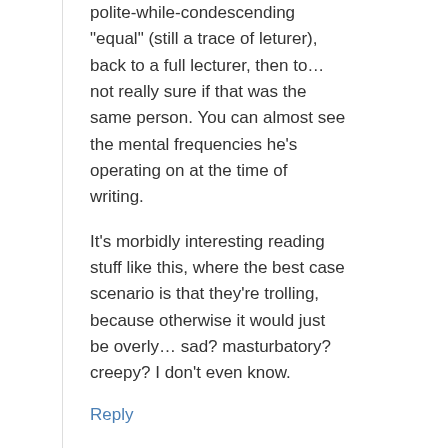polite-while-condescending "equal" (still a trace of leturer), back to a full lecturer, then to… not really sure if that was the same person. You can almost see the mental frequencies he's operating on at the time of writing.
It's morbidly interesting reading stuff like this, where the best case scenario is that they're trolling, because otherwise it would just be overly… sad? masturbatory? creepy? I don't even know.
Reply